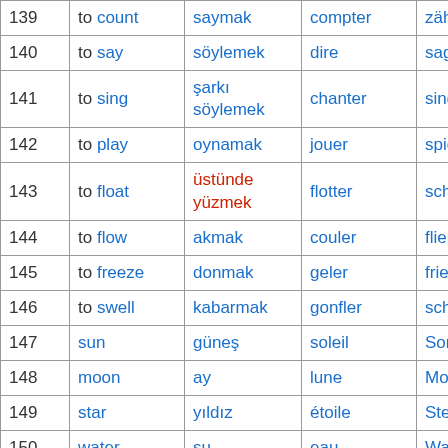| # | English | Turkish | French | German |
| --- | --- | --- | --- | --- |
| 139 | to count | saymak | compter | zählen |
| 140 | to say | söylemek | dire | sagen |
| 141 | to sing | şarkı söylemek | chanter | singen |
| 142 | to play | oynamak | jouer | spielen |
| 143 | to float | üstünde yüzmek | flotter | schweben |
| 144 | to flow | akmak | couler | fließen |
| 145 | to freeze | donmak | geler | frieren |
| 146 | to swell | kabarmak | gonfler | schwellen |
| 147 | sun | güneş | soleil | Sonne |
| 148 | moon | ay | lune | Mond |
| 149 | star | yıldız | étoile | Stern |
| 150 | water | su | eau | Wasser |